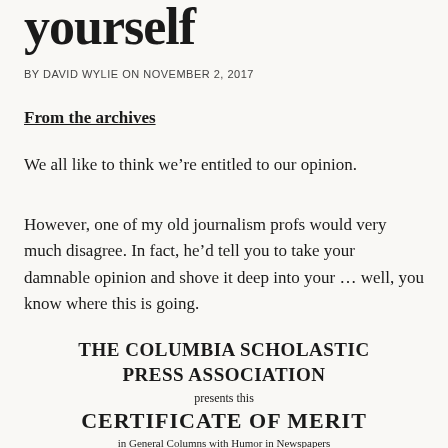yoursel­
BY DAVID WYLIE ON NOVEMBER 2, 2017
From the archives
We all like to think we’re entitled to our opinion.
However, one of my old journalism profs would very much disagree. In fact, he’d tell you to take your damnable opinion and shove it deep into your … well, you know where this is going.
THE COLUMBIA SCHOLASTIC PRESS ASSOCIATION presents this CERTIFICATE OF MERIT in General Columns with Humor in Newspapers to David Wylie